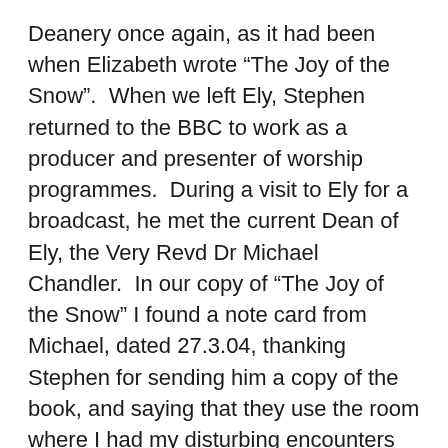Deanery once again, as it had been when Elizabeth wrote “The Joy of the Snow”.  When we left Ely, Stephen returned to the BBC to work as a producer and presenter of worship programmes.  During a visit to Ely for a broadcast, he met the current Dean of Ely, the Very Revd Dr Michael Chandler.  In our copy of “The Joy of the Snow” I found a note card from Michael, dated 27.3.04, thanking Stephen for sending him a copy of the book, and saying that they use the room where I had my disturbing encounters for guests.  “I don’t think we will tell them of its history,  so far no one has reported any strange goings-on! ” All I can say is that I hope the Dean’s family and guests have continued to enjoy peaceful nights, because I would not wish the experience of that malign